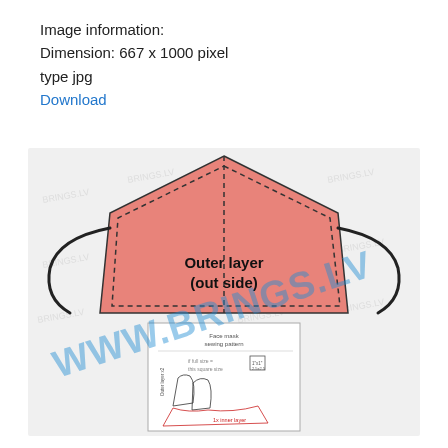Image information:
Dimension: 667 x 1000 pixel
type jpg
Download
[Figure (illustration): A sewing pattern illustration showing a face mask outer layer piece in salmon/pink color labeled 'Outer layer (out side)' with dashed stitch lines around the edges and elastic ear loops on each side. Below it is a partially visible face mask sewing pattern sheet with text and diagrams. A large blue watermark reads 'WWW.BRINGS.LV' diagonally across the image.]